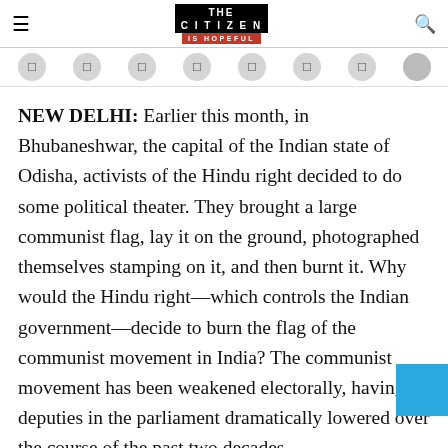THE CITIZEN IS HOPEFUL
NEW DELHI: Earlier this month, in Bhubaneshwar, the capital of the Indian state of Odisha, activists of the Hindu right decided to do some political theater. They brought a large communist flag, lay it on the ground, photographed themselves stamping on it, and then burnt it. Why would the Hindu right—which controls the Indian government—decide to burn the flag of the communist movement in India? The communist movement has been weakened electorally, having its deputies in the parliament dramatically lowered over the course of the past two decades.